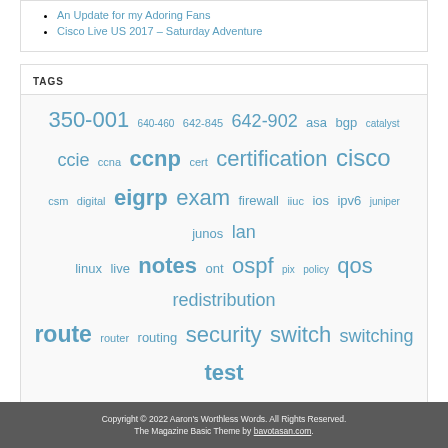An Update for my Adoring Fans
Cisco Live US 2017 – Saturday Adventure
TAGS
350-001 640-460 642-845 642-902 asa bgp catalyst ccie ccna ccnp cert certification cisco csm digital eigrp exam firewall iiuc ios ipv6 juniper junos lan linux live notes ont ospf pix policy qos redistribution route router routing security switch switching test tools vlan voice voip written
Copyright © 2022 Aaron's Worthless Words. All Rights Reserved. The Magazine Basic Theme by bavotasan.com.